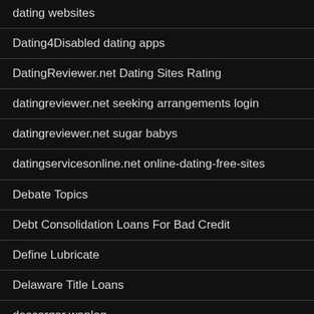dating websites
Dating4Disabled dating apps
DatingReviewer.net Dating Sites Rating
datingreviewer.net seeking arrangements login
datingreviewer.net sugar babys
datingservicesonline.net online-dating-free-sites
Debate Topics
Debt Consolidation Loans For Bad Credit
Define Lubricate
Delaware Title Loans
descargar waplog
detoxionis commenti
developer.1596802408